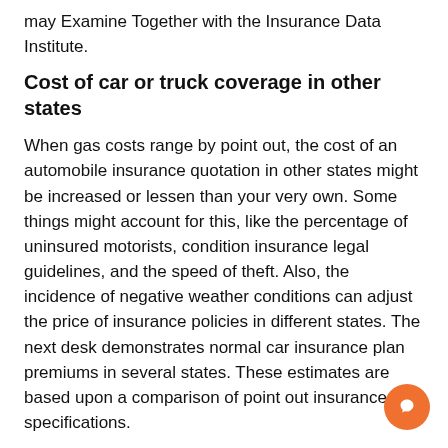may Examine Together with the Insurance Data Institute.
Cost of car or truck coverage in other states
When gas costs range by point out, the cost of an automobile insurance quotation in other states might be increased or lessen than your very own. Some things might account for this, like the percentage of uninsured motorists, condition insurance legal guidelines, and the speed of theft. Also, the incidence of negative weather conditions can adjust the price of insurance policies in different states. The next desk demonstrates normal car insurance plan premiums in several states. These estimates are based upon a comparison of point out insurance specifications.
Missouri is the cheapest point out for full-protection auto insurance plan, paying out just $944 fewer than Louisiana. Also, this condition has one among the bottom prices for every capita, and is ranked fifth in terms of expense of residing. In distinction, Texas drivers spend probably the